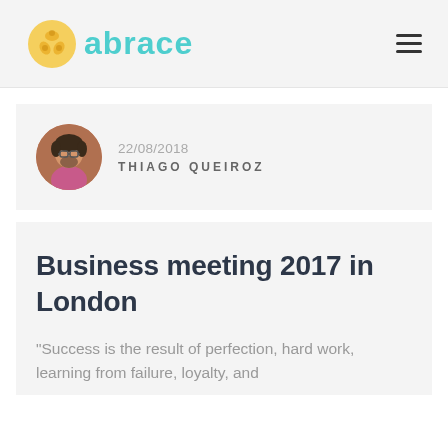abrace
22/08/2018
THIAGO QUEIROZ
Business meeting 2017 in London
“Success is the result of perfection, hard work, learning from failure, loyalty, and